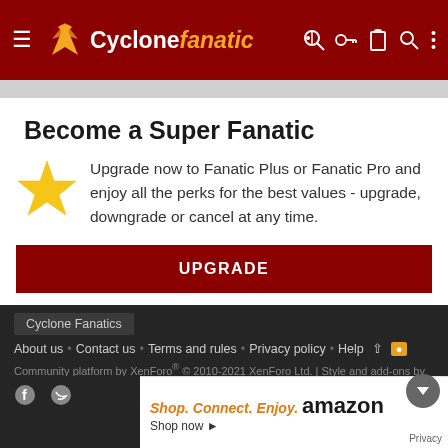Cyclone fanatic
Become a Super Fanatic
Upgrade now to Fanatic Plus or Fanatic Pro and enjoy all the perks for the best values - upgrade, downgrade or cancel at any time.
UPGRADE
Cyclone Fanatics
About us  Contact us  Terms and rules  Privacy policy  Help
Community platform by XenForo® © 2010-2021 XenForo Ltd. | Style and add-ons by ThemeHouse
[Figure (screenshot): Amazon advertisement banner: Shop. Connect. Enjoy. amazon Shop now with Privacy label]